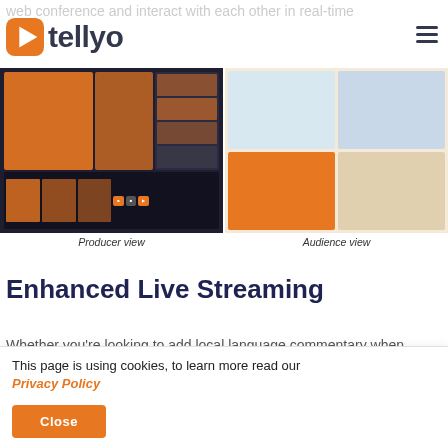web conference and interact with each other in real-time
[Figure (logo): Tellyo logo with orange rounded square icon containing a play button and bold dark text 'tellyo']
[Figure (screenshot): Two screenshots side by side: left shows Producer view of a streaming interface with dark background and orange UI elements; right shows Audience view with four video participants on orange/light background.]
Producer view
Audience view
Enhanced Live Streaming
Whether you're looking to add local language commentary when streaming a sports broadcast
This page is using cookies, to learn more read our Privacy Policy
Close